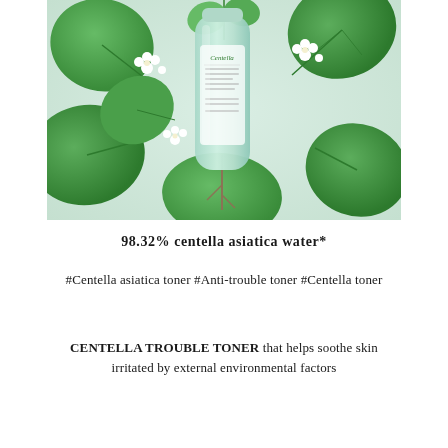[Figure (photo): Product photo of a green Centella toner bottle surrounded by large green centella asiatica leaves and small white flowers, on a light mint/white background.]
98.32% centella asiatica water*
#Centella asiatica toner #Anti-trouble toner #Centella toner
CENTELLA TROUBLE TONER that helps soothe skin irritated by external environmental factors